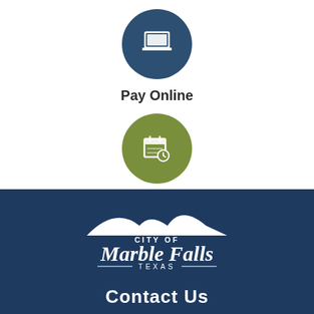[Figure (illustration): Dark blue circle icon with a laptop/monitor symbol inside]
Pay Online
[Figure (illustration): Olive green circle icon with a calendar and clock symbol inside]
Agendas & Minutes
[Figure (logo): City of Marble Falls Texas logo — white hills/mountains silhouette with script text 'Marble Falls' and 'CITY OF' and 'TEXAS' on dark navy background]
Contact Us